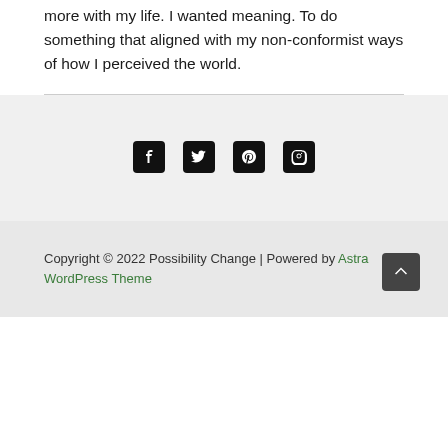more with my life. I wanted meaning. To do something that aligned with my non-conformist ways of how I perceived the world.
[Figure (other): Social media icons row: Facebook, Twitter, Pinterest, Instagram]
Copyright © 2022 Possibility Change | Powered by Astra WordPress Theme